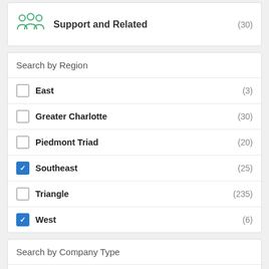Support and Related (30)
Search by Region
East (3)
Greater Charlotte (30)
Piedmont Triad (20)
Southeast (25)
Triangle (235)
West (6)
Search by Company Type
AgTechNC (1)